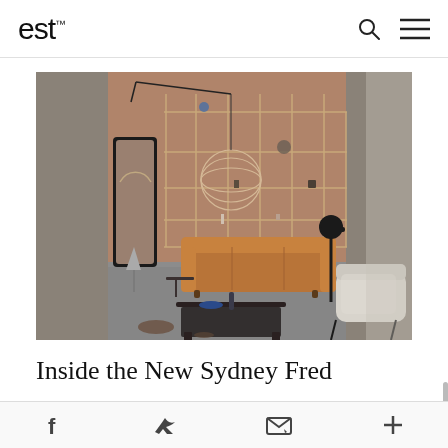est
[Figure (photo): Interior design showroom with tan leather sofa, modular wall shelving system on terracotta-pink wall, patterned armchair, dark coffee table, hanging wicker lamp, floor mirror, and industrial concrete walls with grey textured carpet.]
Inside the New Sydney Fred
Share icons: Facebook, Twitter, Email, More